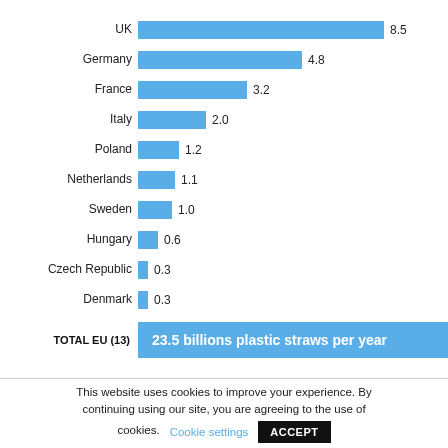[Figure (bar-chart): Plastic straws by EU country]
TOTAL EU (13) 23.5 billions plastic straws per year
This website uses cookies to improve your experience. By continuing using our site, you are agreeing to the use of cookies. Cookie settings ACCEPT